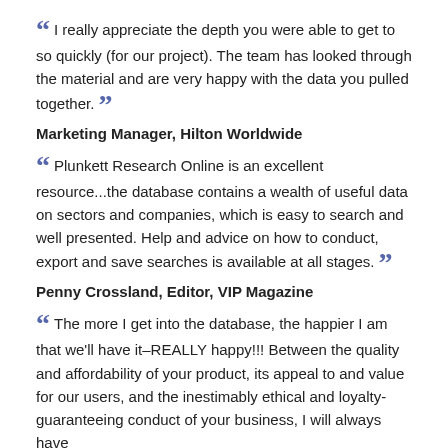I really appreciate the depth you were able to get to so quickly (for our project). The team has looked through the material and are very happy with the data you pulled together.
Marketing Manager, Hilton Worldwide
Plunkett Research Online is an excellent resource...the database contains a wealth of useful data on sectors and companies, which is easy to search and well presented. Help and advice on how to conduct, export and save searches is available at all stages.
Penny Crossland, Editor, VIP Magazine
The more I get into the database, the happier I am that we'll have it–REALLY happy!!! Between the quality and affordability of your product, its appeal to and value for our users, and the inestimably ethical and loyalty-guaranteeing conduct of your business, I will always have